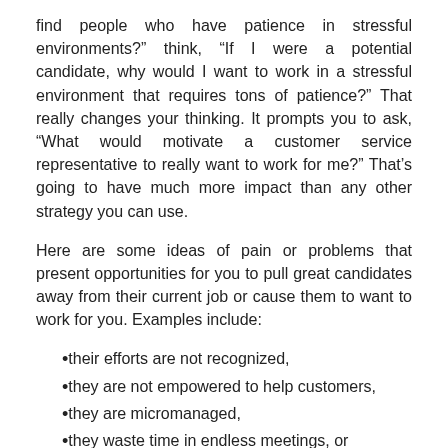find people who have patience in stressful environments?” think, “If I were a potential candidate, why would I want to work in a stressful environment that requires tons of patience?” That really changes your thinking. It prompts you to ask, “What would motivate a customer service representative to really want to work for me?” That’s going to have much more impact than any other strategy you can use.
Here are some ideas of pain or problems that present opportunities for you to pull great candidates away from their current job or cause them to want to work for you. Examples include:
their efforts are not recognized,
they are not empowered to help customers,
they are micromanaged,
they waste time in endless meetings, or
they have co-workers who don’t share their values and beliefs.
These areas are your chance to show how working for